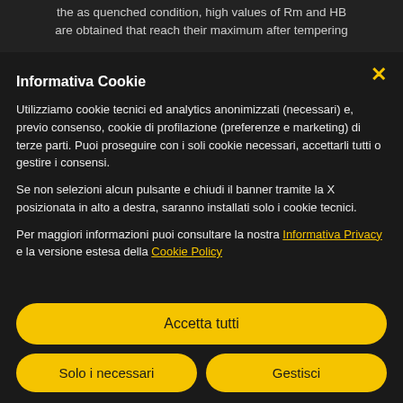the as quenched condition, high values of Rm and HB are obtained that reach their maximum after tempering
Informativa Cookie
Utilizziamo cookie tecnici ed analytics anonimizzati (necessari) e, previo consenso, cookie di profilazione (preferenze e marketing) di terze parti. Puoi proseguire con i soli cookie necessari, accettarli tutti o gestire i consensi.
Se non selezionia alcun pulsante e chiudi il banner tramite la X posizionata in alto a destra, saranno installati solo i cookie tecnici.
Per maggiori informazioni puoi consultare la nostra Informativa Privacy e la versione estesa della Cookie Policy